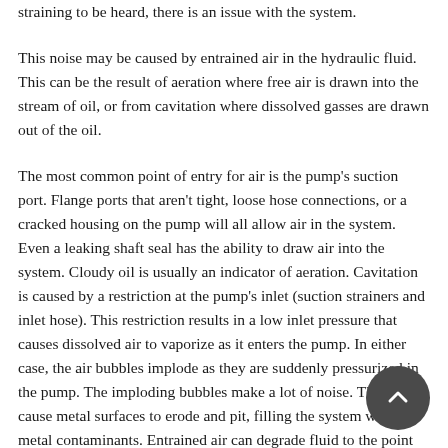straining to be heard, there is an issue with the system.
This noise may be caused by entrained air in the hydraulic fluid. This can be the result of aeration where free air is drawn into the stream of oil, or from cavitation where dissolved gasses are drawn out of the oil.
The most common point of entry for air is the pump's suction port. Flange ports that aren't tight, loose hose connections, or a cracked housing on the pump will all allow air in the system. Even a leaking shaft seal has the ability to draw air into the system. Cloudy oil is usually an indicator of aeration. Cavitation is caused by a restriction at the pump's inlet (suction strainers and inlet hose). This restriction results in a low inlet pressure that causes dissolved air to vaporize as it enters the pump. In either case, the air bubbles implode as they are suddenly pressurized in the pump. The imploding bubbles make a lot of noise. They will cause metal surfaces to erode and pit, filling the system with metal contaminants. Entrained air can degrade fluid to the point where it can fail to provide lubrication to